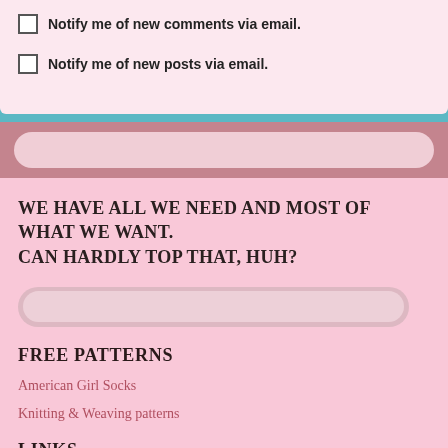Notify me of new comments via email.
Notify me of new posts via email.
[Figure (other): Search bar input field with rounded corners on a mauve/rose background strip]
WE HAVE ALL WE NEED AND MOST OF WHAT WE WANT. CAN HARDLY TOP THAT, HUH?
[Figure (other): Search bar input field with rounded corners on pink background]
FREE PATTERNS
American Girl Socks
Knitting & Weaving patterns
LINKS
American Girl Knitters